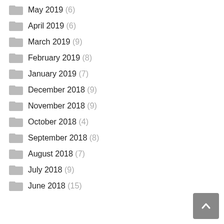May 2019 (6)
April 2019 (6)
March 2019 (9)
February 2019 (8)
January 2019 (7)
December 2018 (9)
November 2018 (9)
October 2018 (4)
September 2018 (8)
August 2018 (7)
July 2018 (9)
June 2018 (15)